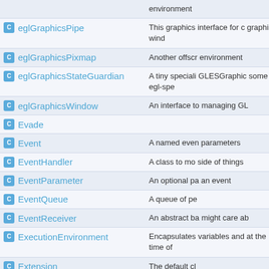| Class | Description |
| --- | --- |
|  | environment |
| eglGraphicsPipe | This graphics interface for c graphics wind |
| eglGraphicsPixmap | Another offscr environment |
| eglGraphicsStateGuardian | A tiny speciali GLESGraphic some egl-spe |
| eglGraphicsWindow | An interface to managing GL |
| Evade |  |
| Event | A named even parameters |
| EventHandler | A class to mo side of things |
| EventParameter | An optional pa an event |
| EventQueue | A queue of pe |
| EventReceiver | An abstract ba might care ab |
| ExecutionEnvironment | Encapsulates variables and at the time of |
| Extension | The default cl |